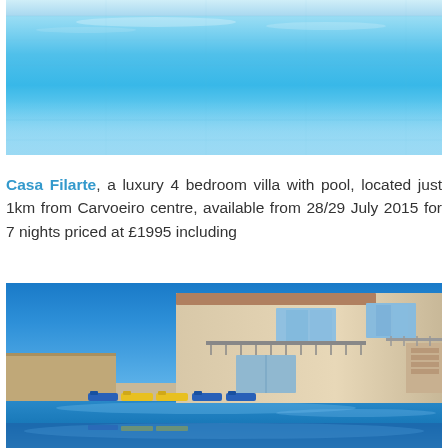[Figure (photo): Swimming pool with clear turquoise-blue water, viewed from pool edge level]
Casa Filarte, a luxury 4 bedroom villa with pool, located just 1km from Carvoeiro centre, available from 28/29 July 2015 for 7 nights priced at £1995 including
[Figure (photo): Luxury villa exterior with pool in foreground, sun loungers with blue and yellow cushions, stone wall, blue sky]